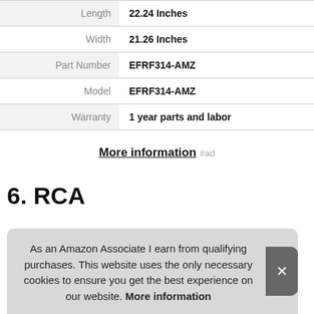| Attribute | Value |
| --- | --- |
| Length | 22.24 Inches |
| Width | 21.26 Inches |
| Part Number | EFRF314-AMZ |
| Model | EFRF314-AMZ |
| Warranty | 1 year parts and labor |
More information #ad
6. RCA
As an Amazon Associate I earn from qualifying purchases. This website uses the only necessary cookies to ensure you get the best experience on our website. More information